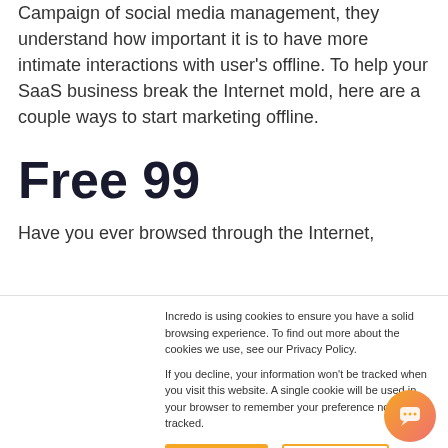Campaign of social media management, they understand how important it is to have more intimate interactions with user's offline. To help your SaaS business break the Internet mold, here are a couple ways to start marketing offline.
Free 99
Have you ever browsed through the Internet,
Incredo is using cookies to ensure you have a solid browsing experience. To find out more about the cookies we use, see our Privacy Policy.

If you decline, your information won't be tracked when you visit this website. A single cookie will be used in your browser to remember your preference not to be tracked.
Accept
Decline